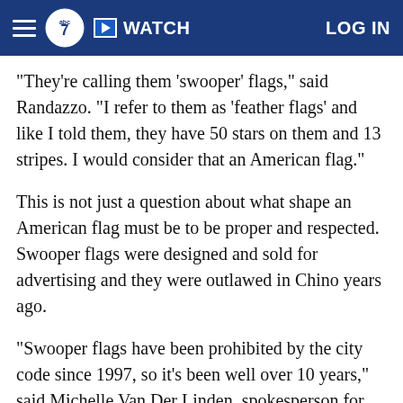abc7 WATCH LOG IN
"They're calling them 'swooper' flags," said Randazzo. "I refer to them as 'feather flags' and like I told them, they have 50 stars on them and 13 stripes. I would consider that an American flag."
This is not just a question about what shape an American flag must be to be proper and respected. Swooper flags were designed and sold for advertising and they were outlawed in Chino years ago.
"Swooper flags have been prohibited by the city code since 1997, so it's been well over 10 years," said Michelle Van Der Linden, spokesperson for the city of Chino.
The swooper poles outside Randazzo's businesses once